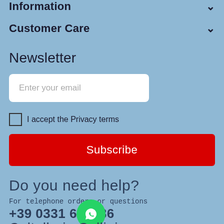Information
Customer Care
Newsletter
Enter your email
I accept the Privacy terms
Subscribe
Do you need help?
For telephone orders or questions
+39 0331 632686
Coltelleria Collini
[Figure (logo): WhatsApp green circle button icon]